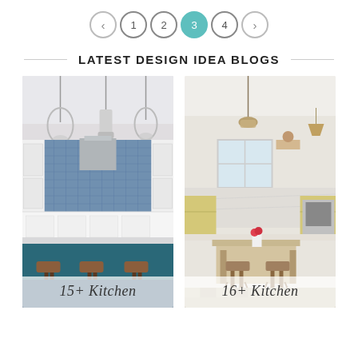Pagination: < 1 2 3 4 >
LATEST DESIGN IDEA BLOGS
[Figure (photo): Kitchen interior with blue patterned tile backsplash, white cabinets, glass pendant lights, dark teal island with leather bar stools]
15+ Kitchen
[Figure (photo): Bright farmhouse kitchen with vaulted ceiling, yellow cabinetry, marble backsplash, wood island with rustic bar stools, woven pendant lights]
16+ Kitchen